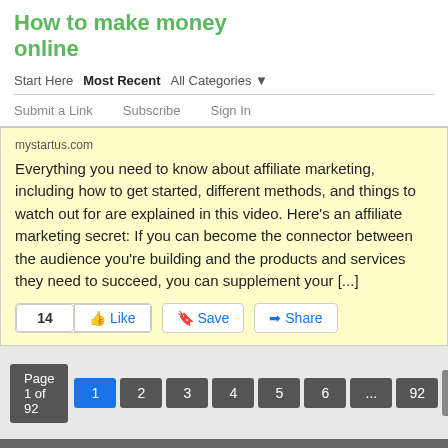How to make money online
Start Here  Most Recent  All Categories ▼
Submit a Link  Subscribe  Sign In
mystartus.com
Everything you need to know about affiliate marketing, including how to get started, different methods, and things to watch out for are explained in this video. Here's an affiliate marketing secret: If you can become the connector between the audience you're building and the products and services they need to succeed, you can supplement your [...]
Page 1 of 92  1  2  3  4  5  6  ...  92  Next »